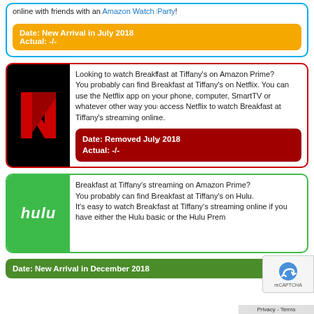online with friends with an Amazon Watch Party!
Date: New Arrival in July 2018
Actual: -/-
Looking to watch Breakfast at Tiffany's on Amazon Prime?
You probably can find Breakfast at Tiffany's on Netflix. You can use the Netflix app on your phone, computer, SmartTV or whatever other way you access Netflix to watch Breakfast at Tiffany's streaming online.
Date: Removed July 2018
Actual: -/-
Breakfast at Tiffany's streaming on Amazon Prime?
You probably can find Breakfast at Tiffany's on Hulu.
It's easy to watch Breakfast at Tiffany's streaming online if you have either the Hulu basic or the Hulu Prem
Date: New Arrival in December 2018